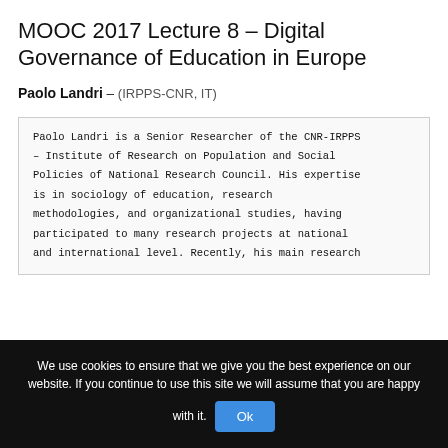MOOC 2017 Lecture 8 – Digital Governance of Education in Europe
Paolo Landri – (IRPPS-CNR, IT)
Paolo Landri is a Senior Researcher of the CNR-IRPPS – Institute of Research on Population and Social Policies of National Research Council. His expertise is in sociology of education, research methodologies, and organizational studies, having participated to many research projects at national and international level. Recently, his main research
We use cookies to ensure that we give you the best experience on our website. If you continue to use this site we will assume that you are happy with it.  Ok